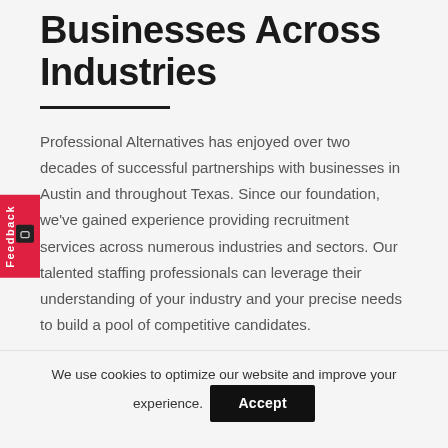Businesses Across Industries
Professional Alternatives has enjoyed over two decades of successful partnerships with businesses in Austin and throughout Texas. Since our foundation, we've gained experience providing recruitment services across numerous industries and sectors. Our talented staffing professionals can leverage their understanding of your industry and your precise needs to build a pool of competitive candidates.
We use cookies to optimize our website and improve your experience. Accept